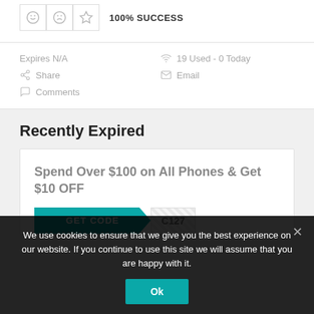100% SUCCESS
Expires N/A
19 Used - 0 Today
Share
Email
Comments
Recently Expired
Spend Over $100 on All Phones & Get $10 OFF
GET CODE  C127
We use cookies to ensure that we give you the best experience on our website. If you continue to use this site we will assume that you are happy with it.
Ok